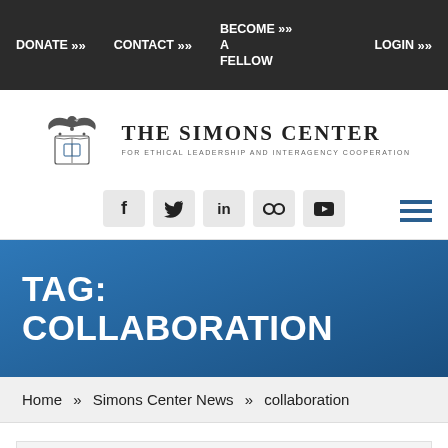DONATE »   CONTACT »   BECOME A FELLOW »   LOGIN »
[Figure (logo): The Simons Center for Ethical Leadership and Interagency Cooperation logo with eagle crest emblem]
[Figure (infographic): Social media icons row: Facebook, Twitter, LinkedIn, Flickr, YouTube, and hamburger menu icon]
TAG: COLLABORATION
Home » Simons Center News » collaboration
Select a News Category